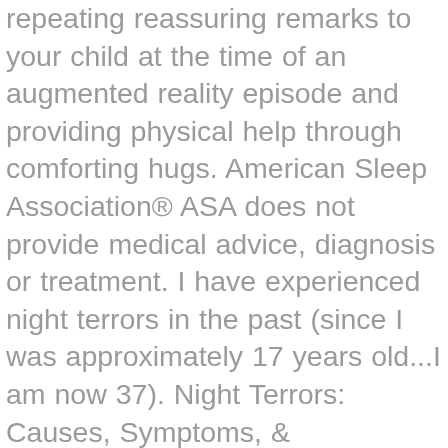repeating reassuring remarks to your child at the time of an augmented reality episode and providing physical help through comforting hugs. American Sleep Association® ASA does not provide medical advice, diagnosis or treatment. I have experienced night terrors in the past (since I was approximately 17 years old...I am now 37). Night Terrors: Causes, Symptoms, & Treatments, Dreams – What they mean and psychology behind them, Sleeping Tips to Help You Fall Asleep Fast, Mattresses: A Review of the Best and Buying Guide, CPAP Cleaners – Reviews of the Best Cleaning Machines, Best Weighted Blankets: Reviews and How They Work, Night Guard for Bruxism: Teeth Grinding and Clenching, Sleep Apnea: Common Causes, Risk Factors, Treatments, Narcolepsy – Definition, Symptoms, Causes & Treatments, Sleep Deprivation: Symptoms, Causes, Treatments, Hypersomnia: Symptoms, Causes, Definition and Treatments, Bruxism – Teeth Grinding Symptoms, Treatment & Causes, Drowsiness: Causes, Treatments, and Prevention, Excessive